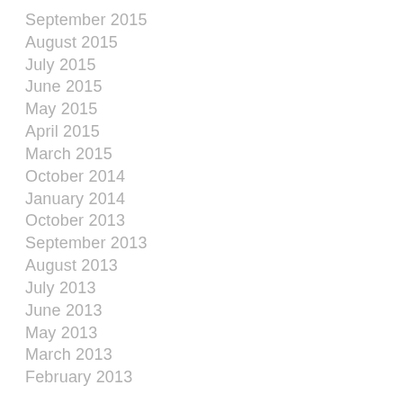September 2015
August 2015
July 2015
June 2015
May 2015
April 2015
March 2015
October 2014
January 2014
October 2013
September 2013
August 2013
July 2013
June 2013
May 2013
March 2013
February 2013